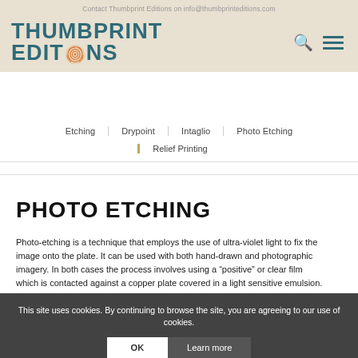Contact Thumbprint Editions on info@thumbprinteditions.com
[Figure (logo): Thumbprint Editions logo with teal bold text and an orange fingerprint circle replacing the O in Editions]
Etching
Drypoint
Intaglio
Photo Etching
Relief Printing
PHOTO ETCHING
Photo-etching is a technique that employs the use of ultra-violet light to fix the image onto the plate. It can be used with both hand-drawn and photographic imagery. In both cases the process involves using a “positive” or clear film which is contacted against a copper plate covered in a light sensitive emulsion.
This site uses cookies. By continuing to browse the site, you are agreeing to our use of cookies.